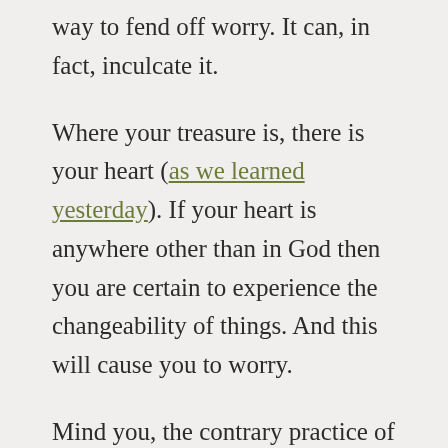way to fend off worry. It can, in fact, inculcate it.
Where your treasure is, there is your heart (as we learned yesterday). If your heart is anywhere other than in God then you are certain to experience the changeability of things. And this will cause you to worry.
Mind you, the contrary practice of Trusting in God, take a long time to develop this side of Judgement Day